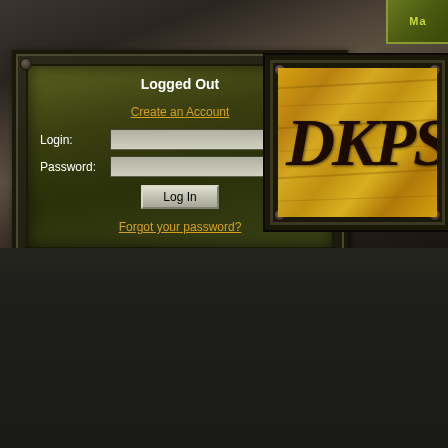[Figure (screenshot): Dark atmospheric fantasy game website background with stone/rocky landscape]
MA
Logged Out
Create an Account
Login:
Password:
Log In
Forgot your password?
[Figure (logo): DKPS logo on golden wood-grain textured background with dark metal frame and bolts]
GRSS F
GRSSS
[B
Threa
Prima